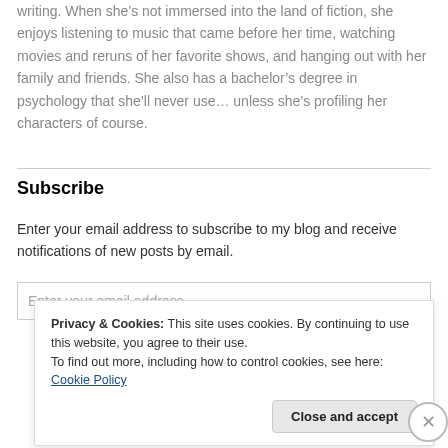writing. When she's not immersed into the land of fiction, she enjoys listening to music that came before her time, watching movies and reruns of her favorite shows, and hanging out with her family and friends. She also has a bachelor's degree in psychology that she'll never use… unless she's profiling her characters of course.
Subscribe
Enter your email address to subscribe to my blog and receive notifications of new posts by email.
Enter your email address
Privacy & Cookies: This site uses cookies. By continuing to use this website, you agree to their use.
To find out more, including how to control cookies, see here: Cookie Policy
Close and accept
Advertisements